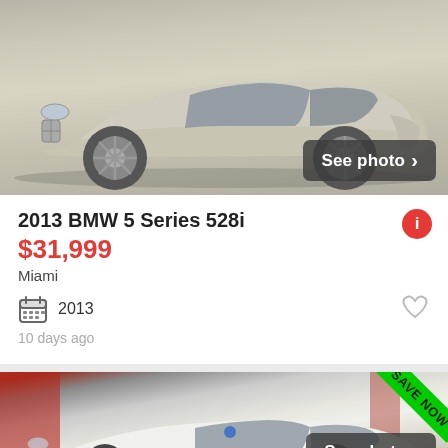[Figure (photo): Silver/champagne BMW 5 Series 528i sedan photographed from the side, on a neutral gray background. 'See photo >' button overlay in bottom right corner.]
2013 BMW 5 Series 528i
$31,999
Miami
2013
10 days ago
[Figure (photo): White BMW 5 Series sedan parked at a dealership with red background elements and a 'SAVE NOW' green badge in the top right corner. 'See photo >' button overlay in bottom right corner.]